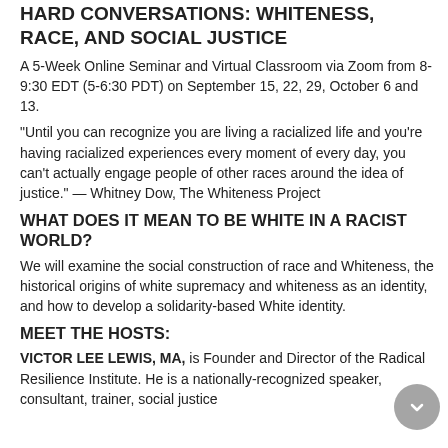HARD CONVERSATIONS: WHITENESS, RACE, and SOCIAL JUSTICE
A 5-Week Online Seminar and Virtual Classroom via Zoom from 8-9:30 EDT (5-6:30 PDT) on September 15, 22, 29, October 6 and 13.
“Until you can recognize you are living a racialized life and you’re having racialized experiences every moment of every day, you can’t actually engage people of other races around the idea of justice.” — Whitney Dow, The Whiteness Project
WHAT DOES IT MEAN TO BE WHITE IN A RACIST WORLD?
We will examine the social construction of race and Whiteness, the historical origins of white supremacy and whiteness as an identity, and how to develop a solidarity-based White identity.
MEET THE HOSTS:
VICTOR LEE LEWIS, MA, is Founder and Director of the Radical Resilience Institute. He is a nationally-recognized speaker, consultant, trainer, social justice